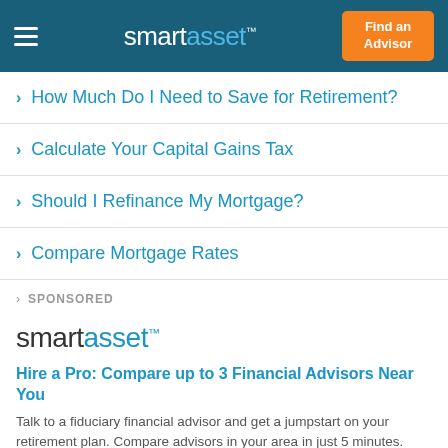smartasset™ — Find an Advisor
How Much Do I Need to Save for Retirement?
Calculate Your Capital Gains Tax
Should I Refinance My Mortgage?
Compare Mortgage Rates
SPONSORED
[Figure (logo): SmartAsset logo in large text — 'smart' in dark gray, 'asset' in blue, with trademark symbol]
Hire a Pro: Compare up to 3 Financial Advisors Near You
Talk to a fiduciary financial advisor and get a jumpstart on your retirement plan. Compare advisors in your area in just 5 minutes.
CATEGORIES